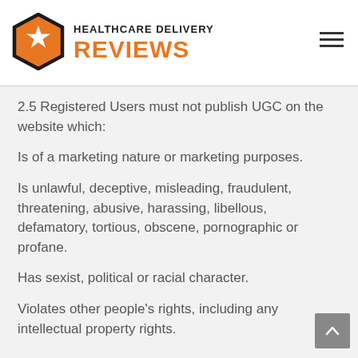[Figure (logo): Healthcare Delivery Reviews logo with orange hexagon containing a white star, and bold text 'HEALTHCARE DELIVERY REVIEWS']
2.5 Registered Users must not publish UGC on the website which:
Is of a marketing nature or marketing purposes.
Is unlawful, deceptive, misleading, fraudulent, threatening, abusive, harassing, libellous, defamatory, tortious, obscene, pornographic or profane.
Has sexist, political or racial character.
Violates other people's rights, including any intellectual property rights.